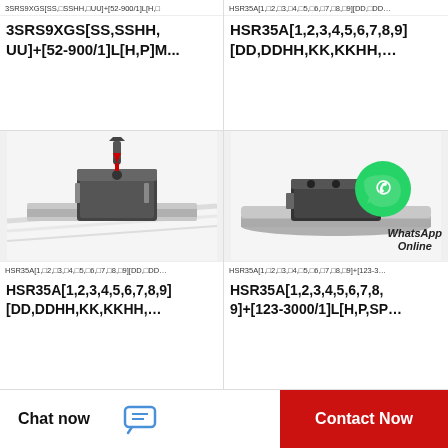3SRS9XGS[SS,□SSHH,□UU]+[52-900/1]L[H,□
HSR35A[1,□2,□3,□4,□5,□6,□7,□8,□9][DD,□DD…
3SRS9XGS[SS,SSHH,UU]+[52-900/1]L[H,P]M...
HSR35A[1,2,3,4,5,6,7,8,9][DD,DDHH,KK,KKHH,...
[Figure (photo): Linear guide block (carriage) on a rail with a bolt being inserted, arrows indicating assembly direction]
[Figure (photo): Linear guide block on a round rail with WhatsApp Online overlay icon]
HSR35A[1,□2,□3,□4,□5,□6,□7,□8,□9][DD,□DD…
HSR35A[1,□2,□3,□4,□5,□6,□7,□8,□9]+[123-3…
HSR35A[1,2,3,4,5,6,7,8,9][DD,DDHH,KK,KKHH,...
HSR35A[1,2,3,4,5,6,7,8,9]+[123-3000/1]L[H,P,SP...
Chat now
Contact Now